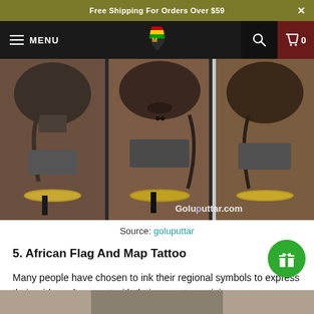Free Shipping For Orders Over $59
[Figure (screenshot): Website navigation bar with hamburger menu, MENU text, Africa-shaped logo with pan-African colors, search icon, and cart icon showing 0 items]
[Figure (photo): Three-panel photo showing tattoo artwork of an African woman's face with traditional adornments on a forearm/wrist, with bracelets visible. Watermark reads Goluputtar.com]
Source: goluputtar
5. African Flag And Map Tattoo
Many people have chosen to ink their regional symbols to express their pride and connect with their ancestors origins.